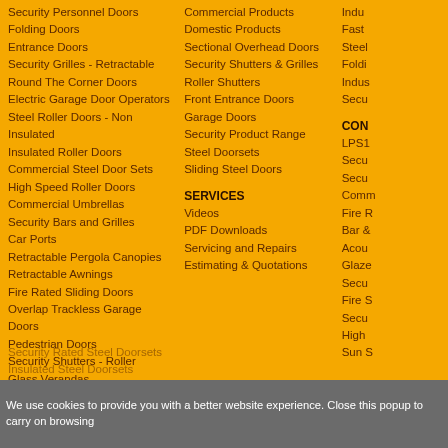Security Personnel Doors
Folding Doors
Entrance Doors
Security Grilles - Retractable
Round The Corner Doors
Electric Garage Door Operators
Steel Roller Doors - Non Insulated
Insulated Roller Doors
Commercial Steel Door Sets
High Speed Roller Doors
Commercial Umbrellas
Security Bars and Grilles
Car Ports
Retractable Pergola Canopies
Retractable Awnings
Fire Rated Sliding Doors
Overlap Trackless Garage Doors
Pedestrian Doors
Security Shutters - Roller
Glass Verandas
Roller Grilles
Domestic Umbrellas
Sliding Doors
Polycarbonate Verandas
Glass Garden Rooms
Emergency Exit Steel Doorsets
Fire Rated Steel Doorsets
Commercial Products
Domestic Products
Sectional Overhead Doors
Security Shutters & Grilles
Roller Shutters
Front Entrance Doors
Garage Doors
Security Product Range
Steel Doorsets
Sliding Steel Doors
SERVICES
Videos
PDF Downloads
Servicing and Repairs
Estimating & Quotations
Indu...
Fast ...
Steel ...
Foldi...
Indus...
Secu...
CON...
LPS1...
Secu...
Secu...
Comm...
Fire R...
Bar &...
Acou...
Glaze...
Secu...
Fire S...
Secu...
High ...
Sun S...
We use cookies to provide you with a better website experience. Close this popup to carry on browsing